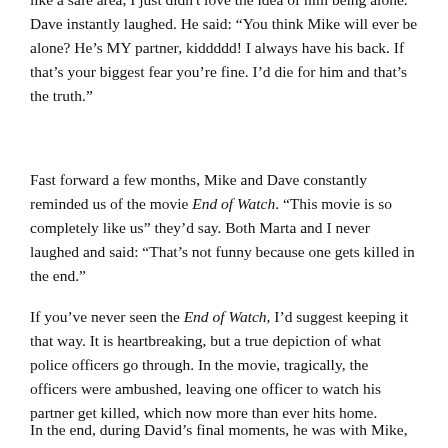like a safe area, I just didn't love the idea of him being alone. Dave instantly laughed. He said: “You think Mike will ever be alone? He’s MY partner, kiddddd! I always have his back. If that’s your biggest fear you’re fine. I’d die for him and that’s the truth.”
Fast forward a few months, Mike and Dave constantly reminded us of the movie End of Watch. “This movie is so completely like us” they’d say. Both Marta and I never laughed and said: “That’s not funny because one gets killed in the end.”
If you’ve never seen the End of Watch, I’d suggest keeping it that way. It is heartbreaking, but a true depiction of what police officers go through. In the movie, tragically, the officers were ambushed, leaving one officer to watch his partner get killed, which now more than ever hits home.
In the end, during David’s final moments, he was with Mike,